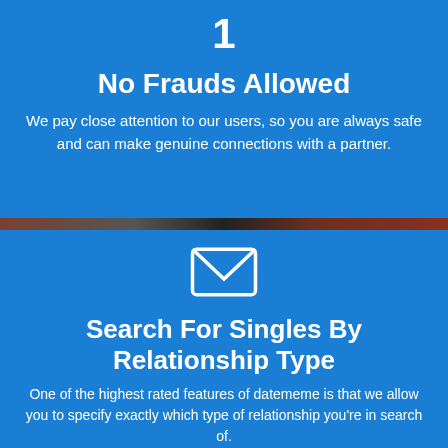[Figure (infographic): Trophy/number 1 icon in white on blue background]
No Frauds Allowed
We pay close attention to our users, so you are always safe and can make genuine connections with a partner.
[Figure (infographic): Envelope/mail icon in white outline on blue background]
Search For Singles By Relationship Type
One of the highest rated features of datememe is that we allow you to specify exactly which type of relationship you're in search of.